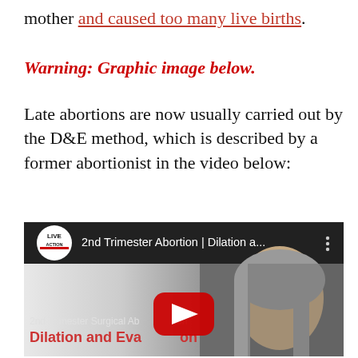mother and caused too many live births.
Warning: Graphic image below.
Late abortions are now usually carried out by the D&E method, which is described by a former abortionist in the video below:
[Figure (screenshot): YouTube video thumbnail showing '2nd Trimester Abortion | Dilation a...' by Live Action channel, with a woman with gray hair visible on the right side. Overlay text reads '2nd Trimester Surgical Abortion' and 'Dilation and Eva...on'. A YouTube play button is overlaid in the center.]